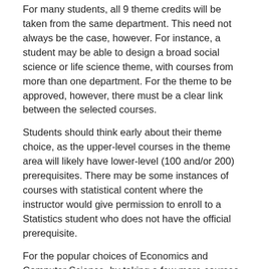For many students, all 9 theme credits will be taken from the same department. This need not always be the case, however. For instance, a student may be able to design a broad social science or life science theme, with courses from more than one department. For the theme to be approved, however, there must be a clear link between the selected courses.
Students should think early about their theme choice, as the upper-level courses in the theme area will likely have lower-level (100 and/or 200) prerequisites. There may be some instances of courses with statistical content where the instructor would give permission to enroll to a Statistics student who does not have the official prerequisite.
For the popular choices of Economics and Computer Science, by taking a few more courses in the other area, you could instead get a Combined Major degree (with one of Economics or Computer Science). Currently, students in a B.Sc. program within the Faculty of Science can earn a Minor in Arts, a Minor in Commerce, or a Minor in another branch of Science. For